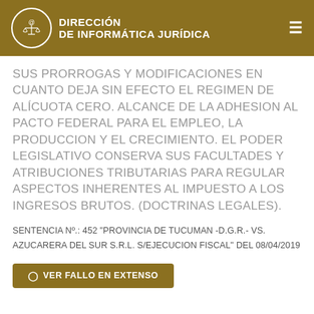DIRECCIÓN DE INFORMÁTICA JURÍDICA
SUS PRORROGAS Y MODIFICACIONES EN CUANTO DEJA SIN EFECTO EL REGIMEN DE ALÍCUOTA CERO. ALCANCE DE LA ADHESION AL PACTO FEDERAL PARA EL EMPLEO, LA PRODUCCION Y EL CRECIMIENTO. EL PODER LEGISLATIVO CONSERVA SUS FACULTADES Y ATRIBUCIONES TRIBUTARIAS PARA REGULAR ASPECTOS INHERENTES AL IMPUESTO A LOS INGRESOS BRUTOS. (DOCTRINAS LEGALES).
SENTENCIA Nº.: 452 "PROVINCIA DE TUCUMAN -D.G.R.- VS. AZUCARERA DEL SUR S.R.L. S/EJECUCION FISCAL" DEL 08/04/2019
⊙ VER FALLO EN EXTENSO